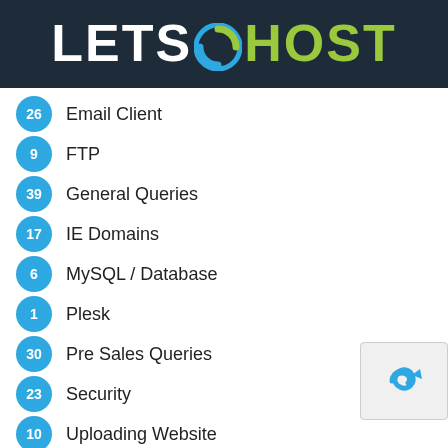[Figure (logo): LetsHost logo with white LETS text and green HOST text with circular icon, on dark navy background]
26 Email Client
9 FTP
39 General Queries
17 IE Domains
6 MySQL / Database
1 Plesk
30 Pre Sales Queries
23 Security
10 Uploading Website
13 VPS Servers
15 Web Host Manager (WHM)
21 Website Builder